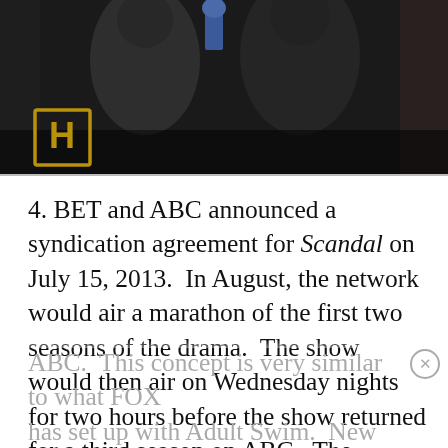[Figure (photo): Dark photograph showing two people standing together, partially visible. An 'H' logo visible on the lower left of the image.]
4. BET and ABC announced a syndication agreement for Scandal on July 15, 2013.  In August, the network would air a marathon of the first two seasons of the drama.  The show would then air on Wednesday nights for two hours before the show returned for a third season on ABC.  The syndication agreement also allowed BET to air new episodes only eight days after they aired on ABC.  This concept is very similar to what FOX has set up with Adult Swim.  New episodes of Family Guy will air on Cartoon Network's Adult Swim two weeks after premiering on FOX.